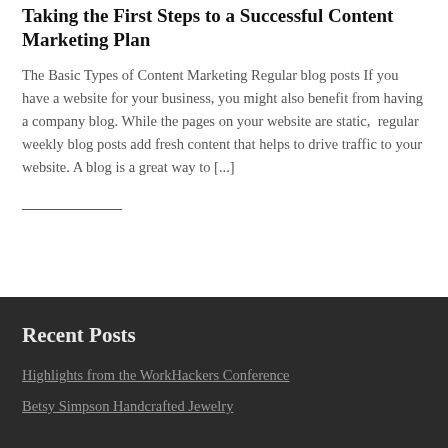Taking the First Steps to a Successful Content Marketing Plan
The Basic Types of Content Marketing Regular blog posts If you have a website for your business, you might also benefit from having a company blog. While the pages on your website are static,  regular weekly blog posts add fresh content that helps to drive traffic to your website. A blog is a great way to [...]
Recent Posts
Highlights from the WorkHackers Conference
Betsy Simpson Handcrafted Jewelry